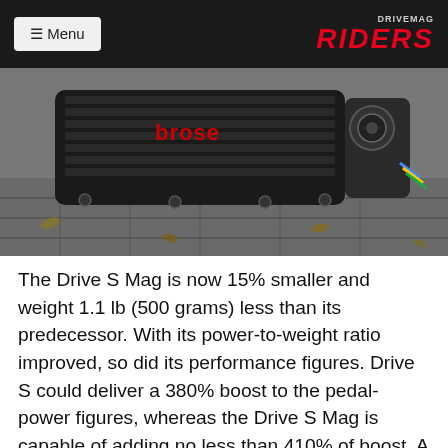≡ Menu | DRIVEMAG RIDERS
[Figure (photo): A Brose electric motor unit (Drive S Mag) photographed close-up on a cobblestone surface with autumn leaves, showing the black finned motor body with the 'brose' text logo in red and mechanical components on the right side.]
The Drive S Mag is now 15% smaller and weight 1.1 lb (500 grams) less than its predecessor. With its power-to-weight ratio improved, so did its performance figures. Drive S could deliver a 380% boost to the pedal-power figures, whereas the Drive S Mag is capable of adding no less than 410% of boost. A new power mode is now available with this motor. In Flex Power Mode, the motor can still deliver assist even at high pedal